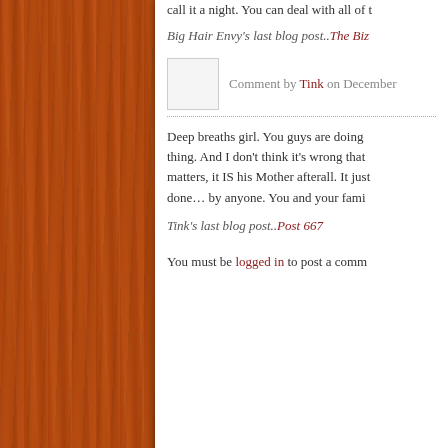call it a night. You can deal with all of t
Big Hair Envy's last blog post..The Biz
Comment by Tink on December
Deep breaths girl. You guys are doing thing. And I don't think it's wrong that matters, it IS his Mother afterall. It just done… by anyone. You and your fami
Tink's last blog post..Post 667
You must be logged in to post a comm